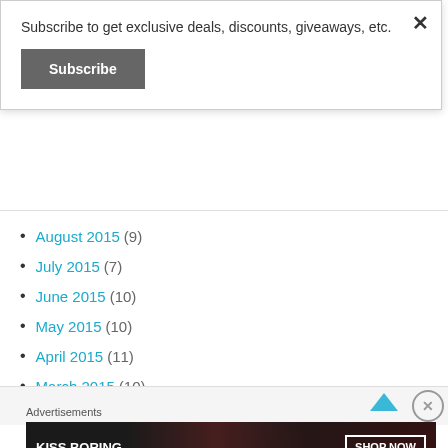Subscribe to get exclusive deals, discounts, giveaways, etc.
Subscribe
August 2015 (9)
July 2015 (7)
June 2015 (10)
May 2015 (10)
April 2015 (11)
March 2015 (10)
February 2015 (6)
Advertisements
[Figure (photo): Macy's advertisement banner: KISS BORING LIPS GOODBYE with SHOP NOW button and Macy's star logo, showing a woman's face with red lips]